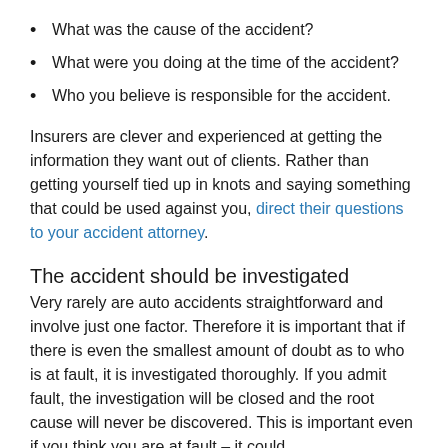What was the cause of the accident?
What were you doing at the time of the accident?
Who you believe is responsible for the accident.
Insurers are clever and experienced at getting the information they want out of clients. Rather than getting yourself tied up in knots and saying something that could be used against you, direct their questions to your accident attorney.
The accident should be investigated
Very rarely are auto accidents straightforward and involve just one factor. Therefore it is important that if there is even the smallest amount of doubt as to who is at fault, it is investigated thoroughly. If you admit fault, the investigation will be closed and the root cause will never be discovered. This is important even if you think you are at fault – it could